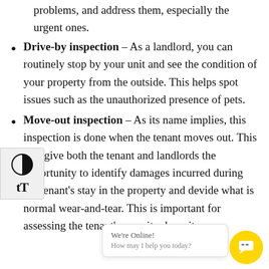problems, and address them, especially the urgent ones.
Drive-by inspection – As a landlord, you can routinely stop by your unit and see the condition of your property from the outside. This helps spot issues such as the unauthorized presence of pets.
Move-out inspection – As its name implies, this inspection is done when the tenant moves out. This will give both the tenant and landlords the opportunity to identify damages incurred during the tenant's stay in the property and devide what is normal wear-and-tear. This is important for assessing the tenant's security deposit.